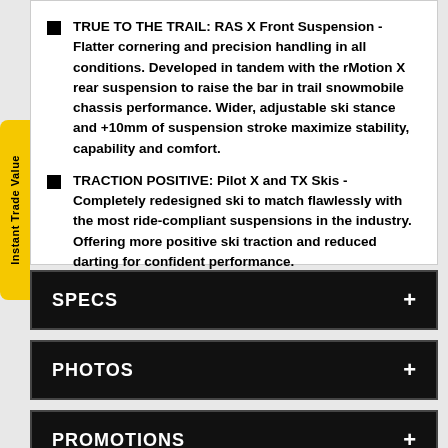TRUE TO THE TRAIL: RAS X Front Suspension - Flatter cornering and precision handling in all conditions. Developed in tandem with the rMotion X rear suspension to raise the bar in trail snowmobile chassis performance. Wider, adjustable ski stance and +10mm of suspension stroke maximize stability, capability and comfort.
TRACTION POSITIVE: Pilot X and TX Skis - Completely redesigned ski to match flawlessly with the most ride-compliant suspensions in the industry. Offering more positive ski traction and reduced darting for confident performance.
SPECS
PHOTOS
PROMOTIONS